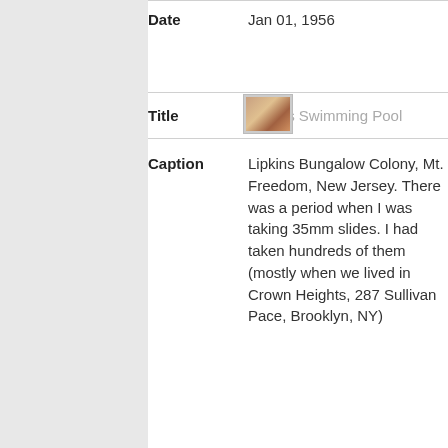Date    Jan 01, 1956
[Figure (photo): Small thumbnail photo of Lipkins Swimming Pool]
Title    Lipkins Swimming Pool
Caption    Lipkins Bungalow Colony, Mt. Freedom, New Jersey. There was a period when I was taking 35mm slides. I had taken hundreds of them (mostly when we lived in Crown Heights, 287 Sullivan Pace, Brooklyn, NY)